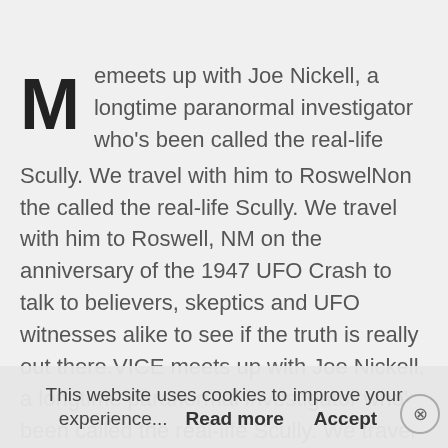Meets up with Joe Nickell, a longtime paranormal investigator who's been called the real-life Scully. We travel with him to RoswelNon the called the real-life Scully. We travel with him to Roswell, NM on the anniversary of the 1947 UFO Crash to talk to believers, skeptics and UFO witnesses alike to see if the truth is really out there.VICE meets up with Joe Nickell, a longtime paranormal investigator who's been called the real-life Scully. We travel with him to Roswell, NM on the anniversary of the 1947 UFO Crash to talk to believers, skeptics and UFO witnesses alike to see if the truth is really out there.
This website uses cookies to improve your experience... Read more Accept